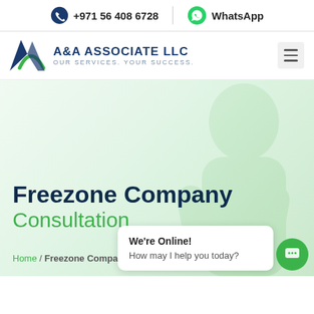+971 56 408 6728  WhatsApp
[Figure (logo): A&A Associate LLC logo with blue/green triangle letter A icon]
A&A ASSOCIATE LLC - OUR SERVICES. YOUR SUCCESS.
[Figure (photo): Hero section with silhouette of businessman on green-tinted background]
Freezone Company Consultation
Home / Freezone Company
We're Online! How may I help you today?